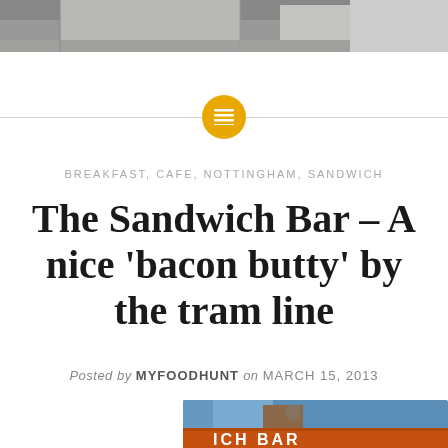[Figure (photo): Top banner photo of a storefront exterior, blurred/cropped]
[Figure (illustration): Gold/yellow circular icon with a content/menu lines symbol, centered on a horizontal divider line]
BREAKFAST, CAFE, NOTTINGHAM, SANDWICH
The Sandwich Bar – A nice 'bacon butty' by the tram line
Posted by MYFOODHUNT on MARCH 15, 2013
[Figure (photo): Bottom photo showing a sandwich bar sign with blue sky and chimney, orange/brown signage reading WICH BAR]